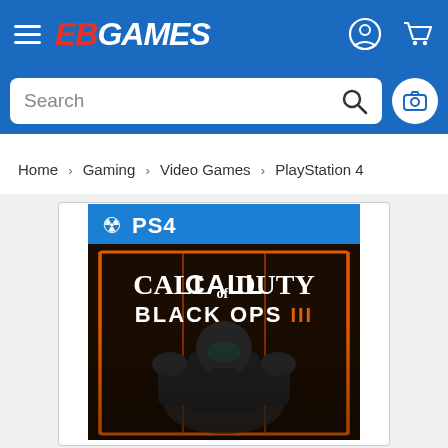EB Games navigation bar with hamburger menu, EB GAMES logo, user account icon, and shopping cart icon
Search
Home > Gaming > Video Games > PlayStation 4
[Figure (photo): Call of Duty: Black Ops III PlayStation 4 game cover showing a futuristic soldier in body armor against a dark background with orange glowing lines. Blue PS4 banner at top with PlayStation logo.]